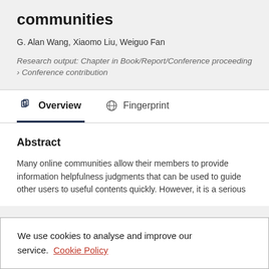communities
G. Alan Wang, Xiaomo Liu, Weiguo Fan
Research output: Chapter in Book/Report/Conference proceeding › Conference contribution
Overview   Fingerprint
Abstract
Many online communities allow their members to provide information helpfulness judgments that can be used to guide other users to useful contents quickly. However, it is a serious
We use cookies to analyse and improve our service. Cookie Policy